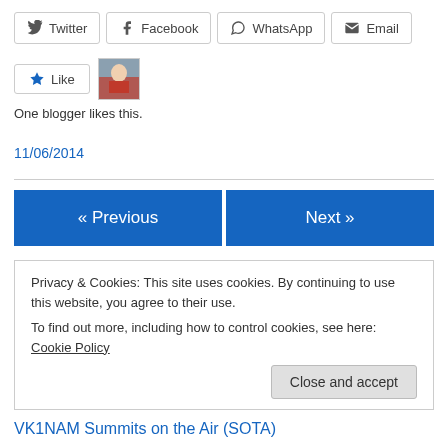[Figure (other): Social share buttons: Twitter, Facebook, WhatsApp, Email]
[Figure (other): Like button with star icon and blogger avatar thumbnail]
One blogger likes this.
11/06/2014
[Figure (other): Navigation buttons: « Previous and Next »]
Privacy & Cookies: This site uses cookies. By continuing to use this website, you agree to their use.
To find out more, including how to control cookies, see here: Cookie Policy
[Figure (other): Close and accept button]
VK1NAM Summits on the Air (SOTA)